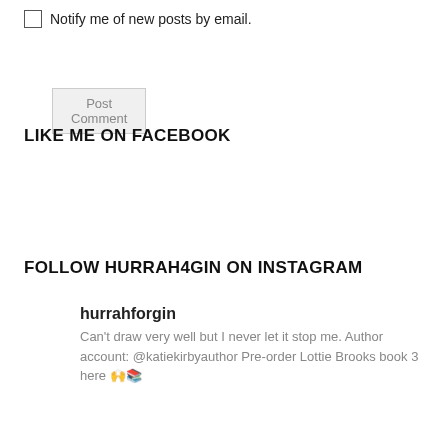Notify me of new posts by email.
Post Comment
LIKE ME ON FACEBOOK
FOLLOW HURRAH4GIN ON INSTAGRAM
hurrahforgin
Can't draw very well but I never let it stop me. Author account: @katiekirbyauthor Pre-order Lottie Brooks book 3 here 🙌📚